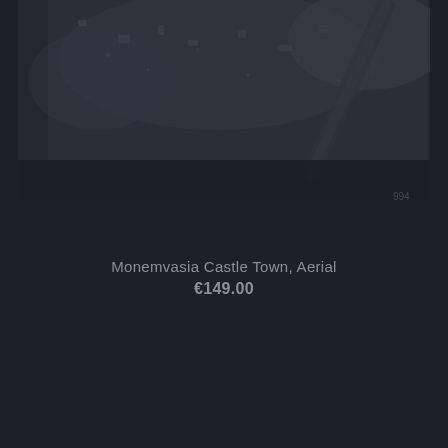[Figure (photo): Aerial view of Monemvasia Castle Town, showing rocky terrain and ancient stone structures from above, dark and moody tone]
Monemvasia Castle Town, Aerial
€149.00